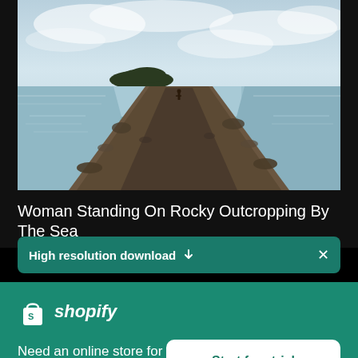[Figure (photo): Photograph of a rocky outcropping/causeway extending into the sea toward a small island in the distance, with a person standing on it. Overcast sky with clouds, calm water on both sides.]
Woman Standing On Rocky Outcropping By The Sea
High resolution download ↓
[Figure (logo): Shopify logo: white shopping bag icon with 'S' and italic white text 'shopify']
Need an online store for your business?
Start free trial